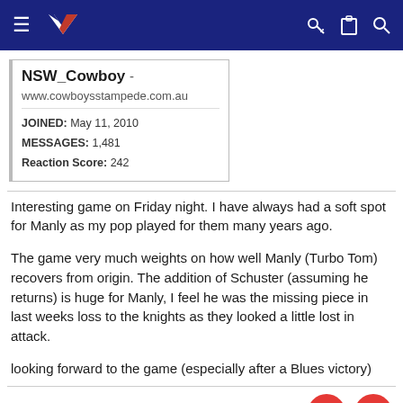NZ Warriors forum navigation bar
| Field | Value |
| --- | --- |
| NSW_Cowboy - |  |
| URL | www.cowboysstampede.com.au |
| JOINED: | May 11, 2010 |
| MESSAGES: | 1,481 |
| Reaction Score: | 242 |
Interesting game on Friday night. I have always had a soft spot for Manly as my pop played for them many years ago.
The game very much weights on how well Manly (Turbo Tom) recovers from origin. The addition of Schuster (assuming he returns) is huge for Manly, I feel he was the missing piece in last weeks loss to the knights as they looked a little lost in attack.
looking forward to the game (especially after a Blues victory)
[Figure (screenshot): Advertisement banner: 43781 Parkhurst Plaza, Ashburn - Up To $120 Off on Bridgestone]